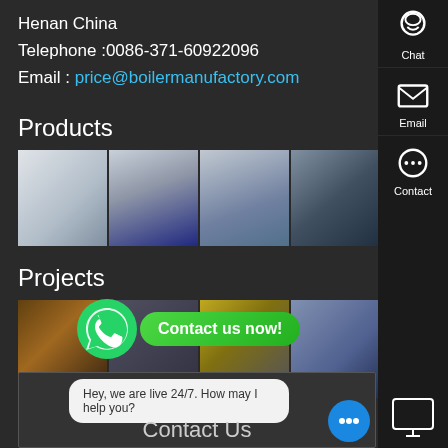Henan China
Telephone :0086-371-60922096
Email : price@boilermanufactory.com
Products
[Figure (photo): Four product photos showing industrial boiler equipment and facilities]
Projects
[Figure (photo): Four project photos showing installed industrial boiler systems]
[Figure (infographic): WhatsApp contact button with green 'Contact us now!' bubble]
Hey, we are live 24/7. How may I help you?
Contact Us